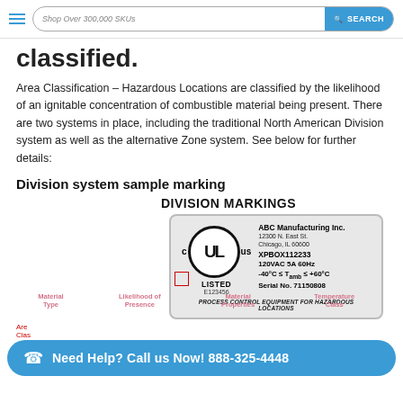Shop Over 300,000 SKUs  SEARCH
classified.
Area Classification – Hazardous Locations are classified by the likelihood of an ignitable concentration of combustible material being present. There are two systems in place, including the traditional North American Division system as well as the alternative Zone system. See below for further details:
Division system sample marking
DIVISION MARKINGS
[Figure (other): UL Listed label for process control equipment for hazardous locations. Shows cULus logo, company ABC Manufacturing Inc., address 12300 N. East St. Chicago, IL 60600, model XPBOX112233, 120VAC 5A 60Hz, -40°C ≤ Tamb ≤ +60°C, Serial No. 71150808, PROCESS CONTROL EQUIPMENT FOR HAZARDOUS LOCATIONS, E123456]
Area Class
Need Help? Call us Now! 888-325-4448
| Material Type | Likelihood of Presence | Material Properties | Temperature Class |
| --- | --- | --- | --- |